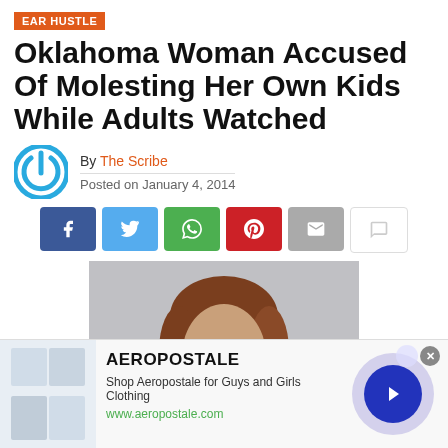EAR HUSTLE
Oklahoma Woman Accused Of Molesting Her Own Kids While Adults Watched
By The Scribe
Posted on January 4, 2014
[Figure (infographic): Social share buttons: Facebook, Twitter, WhatsApp, Pinterest, Email, Comment]
[Figure (photo): Mugshot-style photo of a woman with brown hair against a gray background]
[Figure (infographic): Aeropostale advertisement banner with product images, title AEROPOSTALE, tagline Shop Aeropostale for Guys and Girls Clothing, url www.aeropostale.com, and a blue arrow button]